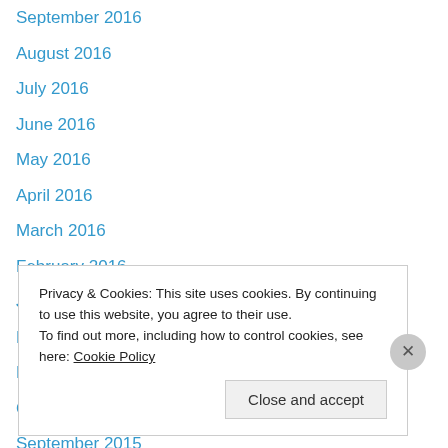September 2016
August 2016
July 2016
June 2016
May 2016
April 2016
March 2016
February 2016
January 2016
December 2015
November 2015
October 2015
September 2015
August 2015
Privacy & Cookies: This site uses cookies. By continuing to use this website, you agree to their use. To find out more, including how to control cookies, see here: Cookie Policy
Close and accept